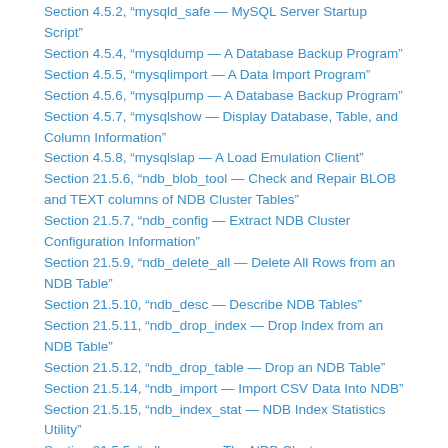Section 4.5.2, “mysqld_safe — MySQL Server Startup Script”
Section 4.5.4, “mysqldump — A Database Backup Program”
Section 4.5.5, “mysqlimport — A Data Import Program”
Section 4.5.6, “mysqlpump — A Database Backup Program”
Section 4.5.7, “mysqlshow — Display Database, Table, and Column Information”
Section 4.5.8, “mysqlslap — A Load Emulation Client”
Section 21.5.6, “ndb_blob_tool — Check and Repair BLOB and TEXT columns of NDB Cluster Tables”
Section 21.5.7, “ndb_config — Extract NDB Cluster Configuration Information”
Section 21.5.9, “ndb_delete_all — Delete All Rows from an NDB Table”
Section 21.5.10, “ndb_desc — Describe NDB Tables”
Section 21.5.11, “ndb_drop_index — Drop Index from an NDB Table”
Section 21.5.12, “ndb_drop_table — Drop an NDB Table”
Section 21.5.14, “ndb_import — Import CSV Data Into NDB”
Section 21.5.15, “ndb_index_stat — NDB Index Statistics Utility”
Section 21.5.5, “ndb_mgm — The NDB Cluster Management Client”
Section 21.5.4, “ndb_mgmd — The NDB Cluster Management Server Daemon”
Section 21.5.16, “ndb_move_data — NDB Data Copy Utility”
Section 21.5.17, “ndb_perror — Obtain NDB Error Message